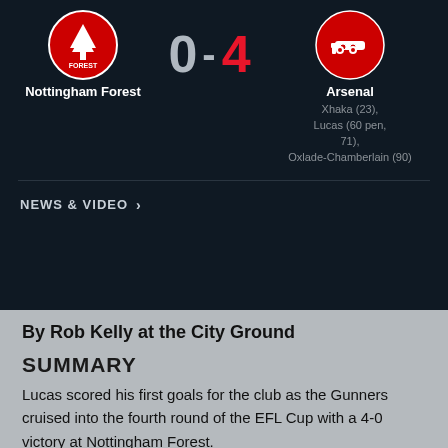[Figure (infographic): Football match scoreboard: Nottingham Forest 0 - 4 Arsenal. Shows team badges for both clubs. Arsenal scorers: Xhaka (23), Lucas (60 pen, 71), Oxlade-Chamberlain (90).]
NEWS & VIDEO >
By Rob Kelly at the City Ground
SUMMARY
Lucas scored his first goals for the club as the Gunners cruised into the fourth round of the EFL Cup with a 4-0 victory at Nottingham Forest.